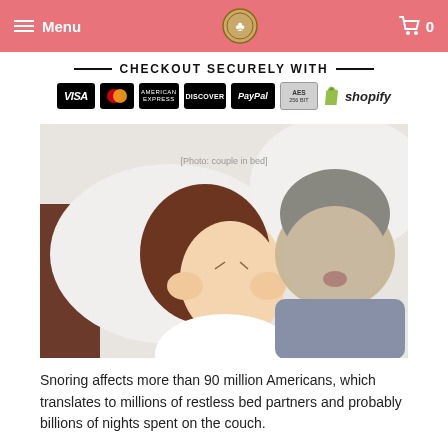Menu  [logo]  0
— CHECKOUT SECURELY WITH —
[Figure (infographic): Payment method icons: VISA, Mastercard, American Express, Discover, PayPal, AES 256-bit, Shopify]
[Figure (photo): A woman covering her ears looking distressed while a man sleeps and snores beside her in bed]
Snoring affects more than 90 million Americans, which translates to millions of restless bed partners and probably billions of nights spent on the couch.